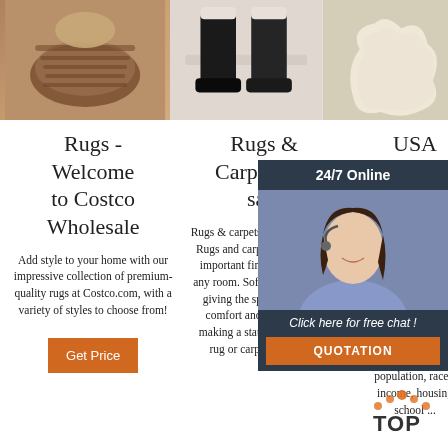[Figure (photo): Top row of three product images: brown shoes/soles on left, black boots in middle, white sheepskin rug on right]
Rugs - Welcome to Costco Wholesale
Add style to your home with our impressive collection of premium-quality rugs at Costco.com, with a variety of styles to choose from!
Get Price
Rugs & Carpets for sale
Rugs & carpets for every home. Rugs and carpets add that all-important finishing touch to any room. Softening the decor, giving the space a sense of comfort and relaxation or making a statement, theres a rug or carpet to amplify
USA Lo info - US
USA.c easy to me countie code codes including population, races, income, housing school ...
[Figure (photo): Chat overlay with agent photo, 24/7 Online banner, Click here for free chat text, and QUOTATION button]
[Figure (logo): TOP badge with orange dots]